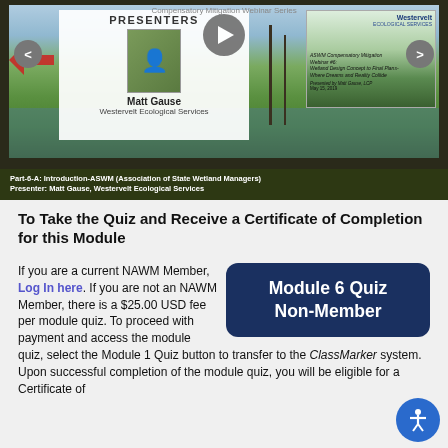[Figure (screenshot): Video player screenshot showing a compensatory mitigation webinar with presenter Matt Gause from Westervelt Ecological Services. Navigation arrows on left/right, play button in center, Westervelt card on right side.]
Part-6-A: Introduction-ASWM (Association of State Wetland Managers) Presenter: Matt Gause, Westervelt Ecological Services
To Take the Quiz and Receive a Certificate of Completion for this Module
If you are a current NAWM Member, Log In here. If you are not an NAWM Member, there is a $25.00 USD fee per module quiz. To proceed with payment and access the module quiz, select the Module 1 Quiz button to transfer to the ClassMarker system. Upon successful completion of the module quiz, you will be eligible for a Certificate of
[Figure (screenshot): Dark blue rounded rectangle button labeled 'Module 6 Quiz Non-Member']